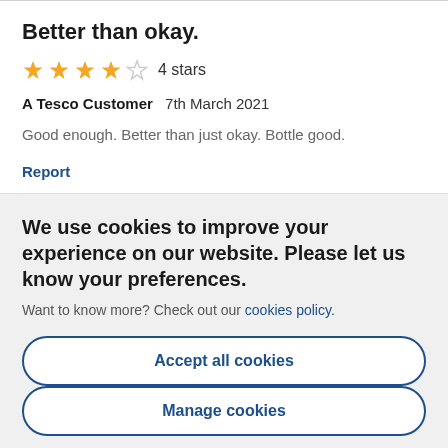Better than okay.
★★★★☆ 4 stars
A Tesco Customer  7th March 2021
Good enough. Better than just okay. Bottle good.
Report
We use cookies to improve your experience on our website. Please let us know your preferences.
Want to know more? Check out our cookies policy.
Accept all cookies
Manage cookies